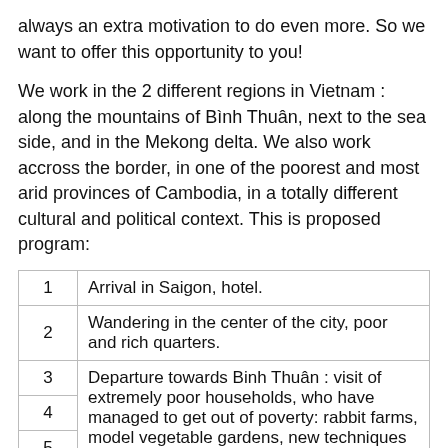always an extra motivation to do even more. So we want to offer this opportunity to you!
We work in the 2 different regions in Vietnam : along the mountains of Bình Thuân, next to the sea side, and in the Mekong delta. We also work accross the border, in one of the poorest and most arid provinces of Cambodia, in a totally different cultural and political context. This is proposed program:
| 1 | Arrival in Saigon, hotel. |
| 2 | Wandering in the center of the city, poor and rich quarters. |
| 3
4
5 | Departure towards Binh Thuân : visit of extremely poor households, who have managed to get out of poverty: rabbit farms, model vegetable gardens, new techniques for paddy (less chemicals, higher profits), biogas, patchwork, production of incense sticks for export, action theatre to promote hygiene, waste recycling, promotion of cashew nuts for fair trade... Sharing the life of the local teams. Night in a |